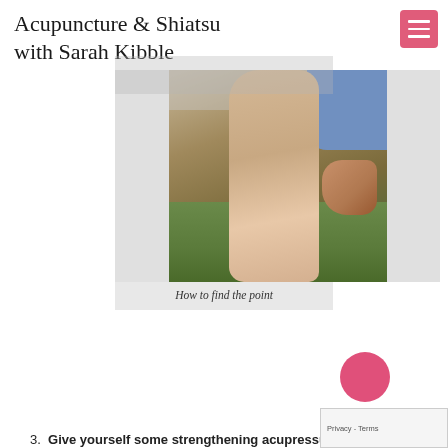Acupuncture & Shiatsu with Sarah Kibble
[Figure (photo): Close-up photo of a person pressing a point on their lower leg/shin area with a fist, outdoors on grass. The person is wearing a blue shirt. Demonstrates how to find an acupressure point.]
How to find the point
3. Give yourself some strengthening acupressure: A lot of acupuncturists report that when patients regularly press specific acupuncture points on themselves...